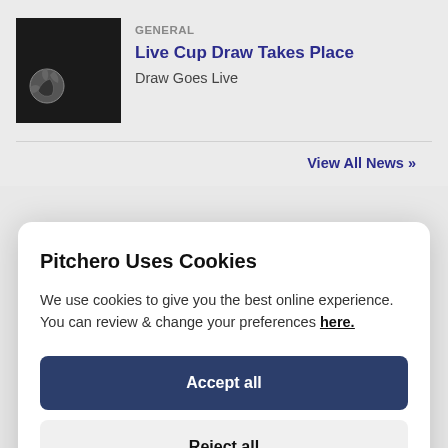[Figure (photo): Dark thumbnail image showing a football/soccer ball in low light]
GENERAL
Live Cup Draw Takes Place
Draw Goes Live
View All News »
Pitchero Uses Cookies
We use cookies to give you the best online experience. You can review & change your preferences here.
Accept all
Reject all
Submit